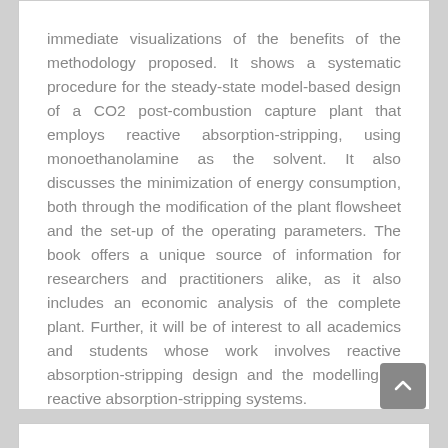immediate visualizations of the benefits of the methodology proposed. It shows a systematic procedure for the steady-state model-based design of a CO2 post-combustion capture plant that employs reactive absorption-stripping, using monoethanolamine as the solvent. It also discusses the minimization of energy consumption, both through the modification of the plant flowsheet and the set-up of the operating parameters. The book offers a unique source of information for researchers and practitioners alike, as it also includes an economic analysis of the complete plant. Further, it will be of interest to all academics and students whose work involves reactive absorption-stripping design and the modelling of reactive absorption-stripping systems.